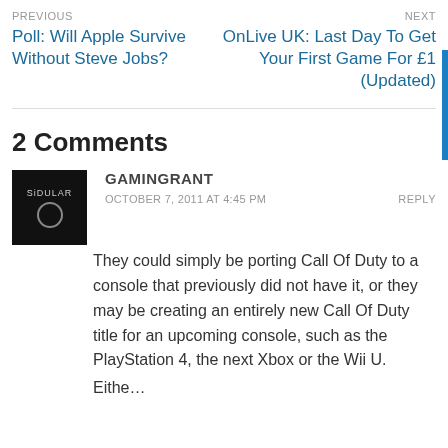PREVIOUS
Poll: Will Apple Survive Without Steve Jobs?
NEXT
OnLive UK: Last Day To Get Your First Game For £1 (Updated)
2 Comments
[Figure (photo): Avatar image of commenter GAMINGRANT, dark background with text SIDULAR and a circle icon]
GAMINGRANT
OCTOBER 7, 2011 AT 4:45 PM
REPLY
They could simply be porting Call Of Duty to a console that previously did not have it, or they may be creating an entirely new Call Of Duty title for an upcoming console, such as the PlayStation 4, the next Xbox or the Wii U.
Either…